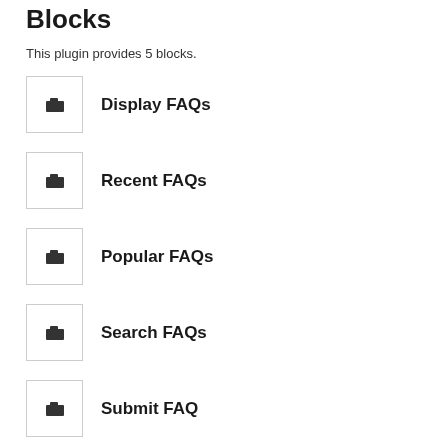Blocks
This plugin provides 5 blocks.
Display FAQs
Recent FAQs
Popular FAQs
Search FAQs
Submit FAQ